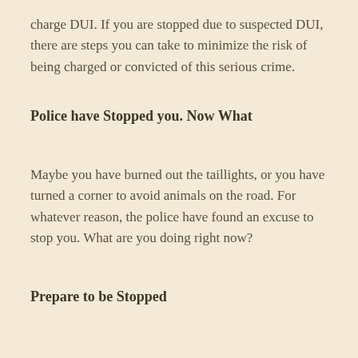charge DUI. If you are stopped due to suspected DUI, there are steps you can take to minimize the risk of being charged or convicted of this serious crime.
Police have Stopped you. Now What
Maybe you have burned out the taillights, or you have turned a corner to avoid animals on the road. For whatever reason, the police have found an excuse to stop you. What are you doing right now?
Prepare to be Stopped